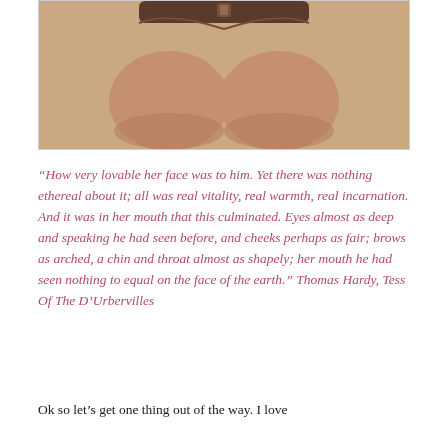[Figure (photo): Cropped photo of a person's torso wearing a nude/beige bra or top, shown from chest area only, against a white background]
“How very lovable her face was to him. Yet there was nothing ethereal about it; all was real vitality, real warmth, real incarnation. And it was in her mouth that this culminated. Eyes almost as deep and speaking he had seen before, and cheeks perhaps as fair; brows as arched, a chin and throat almost as shapely; her mouth he had seen nothing to equal on the face of the earth.” Thomas Hardy, Tess Of The D’Urbervilles
Ok so let’s get one thing out of the way. I love